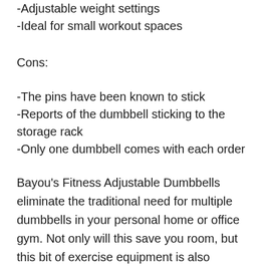-Adjustable weight settings
-Ideal for small workout spaces
Cons:
-The pins have been known to stick
-Reports of the dumbbell sticking to the storage rack
-Only one dumbbell comes with each order
Bayou's Fitness Adjustable Dumbbells eliminate the traditional need for multiple dumbbells in your personal home or office gym. Not only will this save you room, but this bit of exercise equipment is also extremely affordable.
In this unique sliding system, nine sets of weights are combined into one great workout option. To use the dumbbells, you simply adjust the weights from one of the 9